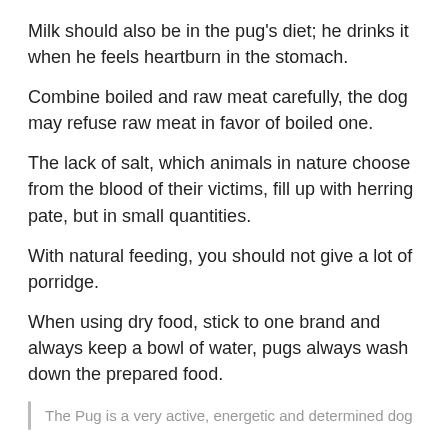Milk should also be in the pug's diet; he drinks it when he feels heartburn in the stomach.
Combine boiled and raw meat carefully, the dog may refuse raw meat in favor of boiled one.
The lack of salt, which animals in nature choose from the blood of their victims, fill up with herring pate, but in small quantities.
With natural feeding, you should not give a lot of porridge.
When using dry food, stick to one brand and always keep a bowl of water, pugs always wash down the prepared food.
The Pug is a very active, energetic and determined dog
Training and education
Since pugs are smart but stubborn, there are some